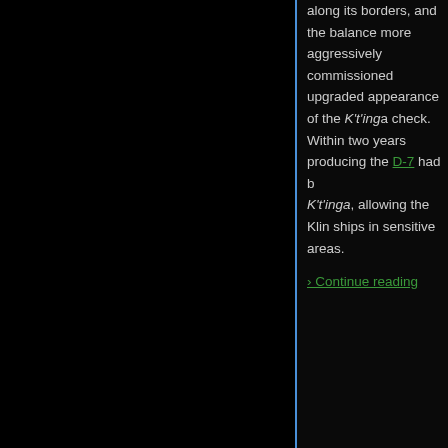[Figure (photo): Large black rectangular image panel on the left side of the page]
along its borders, and the balance more aggressively commissioned upgraded appearance of the K't'inga check. Within two years producing the D-7 had b K't'inga, allowing the Klin ships in sensitive areas.
› Continue reading